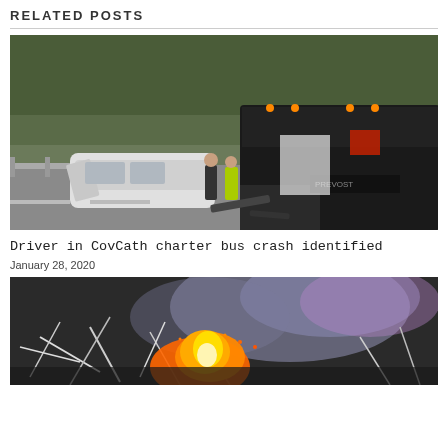RELATED POSTS
[Figure (photo): Photo of a charter bus crash scene on a highway showing a damaged white car and a large black Prevost bus with debris on the road]
Driver in CovCath charter bus crash identified
January 28, 2020
[Figure (photo): Photo of a fire with flames and smoke, appearing to show burning debris or vegetation]